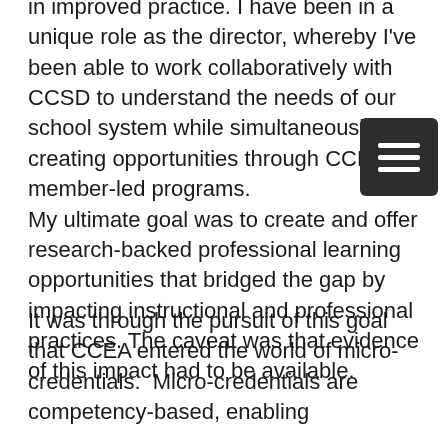in improved practice. I have been in a unique role as the director, whereby I've been able to work collaboratively with CCSD to understand the needs of our school system while simultaneously creating opportunities through CCEA member-led programs. My ultimate goal was to create and offer research-backed professional learning opportunities that bridged the gap by impacting instructional and professional practices. The caveat was that evidence of this impact had to be available.
It was through the pursuit of this goal that CCEA entered the world of micro-credentials.  Micro-credentials are competency-based, enabling